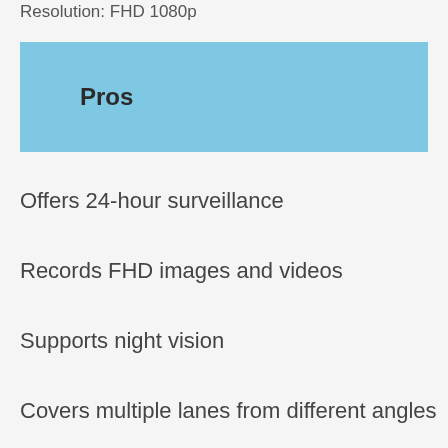Resolution: FHD 1080p
Pros
Offers 24-hour surveillance
Records FHD images and videos
Supports night vision
Covers multiple lanes from different angles